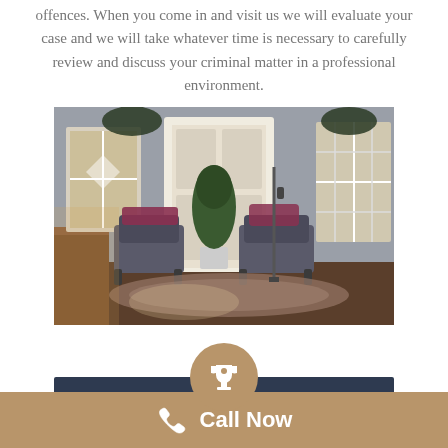offences. When you come in and visit us we will evaluate your case and we will take whatever time is necessary to carefully review and discuss your criminal matter in a professional environment.
[Figure (photo): Interior photo of a professional law office waiting area with two upholstered chairs, a potted topiary plant, decorative chandeliers, stained glass windows, a patterned rug, and a door leading outside.]
[Figure (infographic): Trophy cup icon in a round tan/gold circle above a dark navy bar, representing an award or achievement badge.]
Call Now